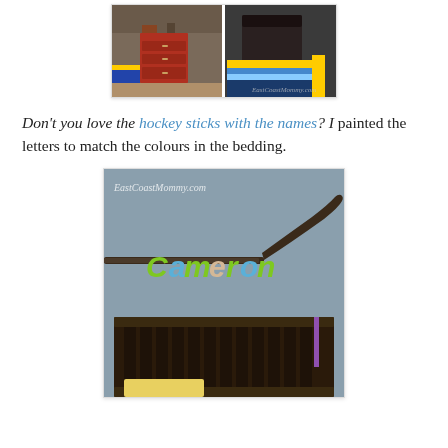[Figure (photo): Two photos side by side showing a children's bedroom with a red dresser on the left and dark furniture with colorful hockey-themed bedding on the right. EastCoastMommy.com watermark visible.]
Don't you love the hockey sticks with the names? I painted the letters to match the colours in the bedding.
[Figure (photo): Photo of a wall-mounted hockey stick spelling out the name 'Cameron' in colorful painted wooden letters (green, blue, tan) on a blue-gray wall, with a dark wooden bed headboard visible below. EastCoastMommy.com watermark.]